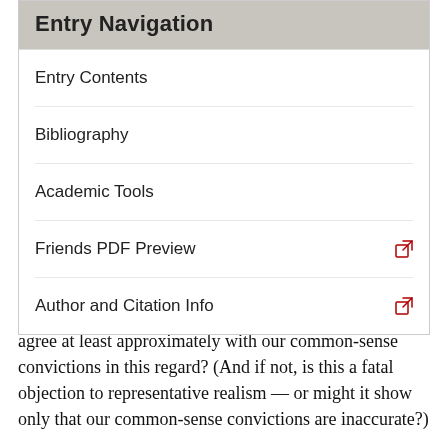Entry Navigation
Entry Contents
Bibliography
Academic Tools
Friends PDF Preview
Author and Citation Info
resulting degree of probability likelihood high enough to agree at least approximately with our common-sense convictions in this regard? (And if not, is this a fatal objection to representative realism — or might it show only that our common-sense convictions are inaccurate?)
2.3 Direct Realism
The upshot of our discussion so far is that phenomenalism appears entirely untenable, and that at least a better defense than many have supposed possible can perhaps be